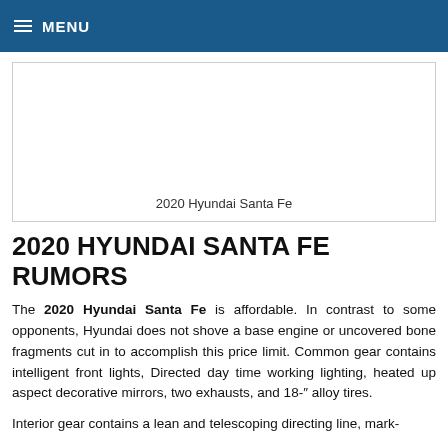MENU
[Figure (photo): 2020 Hyundai Santa Fe image placeholder with caption below]
2020 Hyundai Santa Fe
2020 HYUNDAI SANTA FE RUMORS
The 2020 Hyundai Santa Fe is affordable. In contrast to some opponents, Hyundai does not shove a base engine or uncovered bone fragments cut in to accomplish this price limit. Common gear contains intelligent front lights, Directed day time working lighting, heated up aspect decorative mirrors, two exhausts, and 18-″ alloy tires.
Interior gear contains a lean and telescoping directing line, mark-